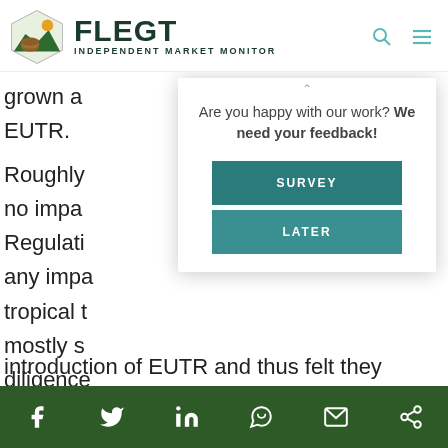FLEGT INDEPENDENT MARKET MONITOR
grown a... EUTR.
Roughly... no impa... Regulati... any impa... tropical t... mostly s... diligence... introduction of EUTR and thus felt they
[Figure (screenshot): Modal dialog with text 'Are you happy with our work? We need your feedback!' and two buttons: SURVEY and LATER]
Social share icons: Facebook, Twitter, LinkedIn, WhatsApp, Email, Share